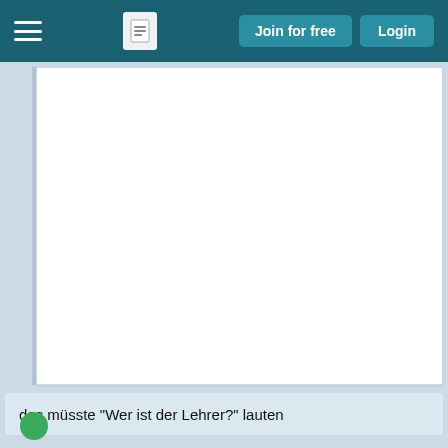≡  [document icon]  Join for free  Login
[Figure (screenshot): White document card area, mostly blank/empty content region]
das müsste "Wer ist der Lehrer?" lauten